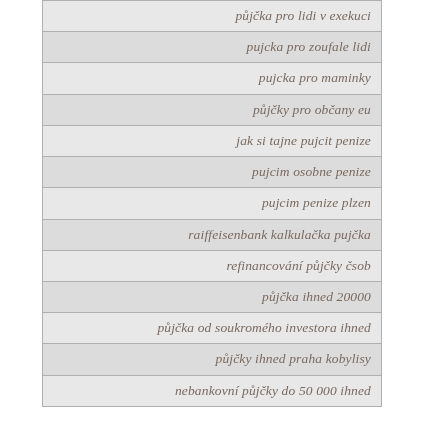| půjčka pro lidi v exekuci |
| pujcka pro zoufale lidi |
| pujcka pro maminky |
| půjčky pro občany eu |
| jak si tajne pujcit penize |
| pujcim osobne penize |
| pujcim penize plzen |
| raiffeisenbank kalkulačka pujčka |
| refinancování půjčky čsob |
| půjčka ihned 20000 |
| půjčka od soukromého investora ihned |
| půjčky ihned praha kobylisy |
| nebankovní půjčky do 50 000 ihned |